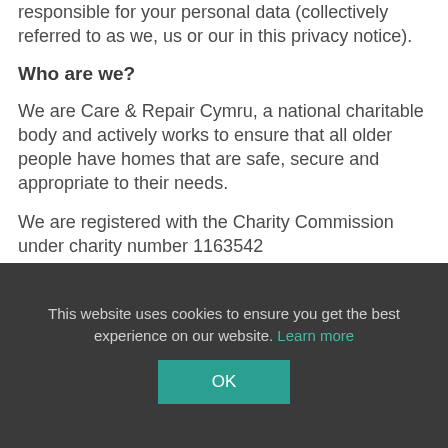responsible for your personal data (collectively referred to as we, us or our in this privacy notice).
Who are we?
We are Care & Repair Cymru, a national charitable body and actively works to ensure that all older people have homes that are safe, secure and appropriate to their needs.
We are registered with the Charity Commission under charity number 1163542
This website uses cookies to ensure you get the best experience on our website. Learn more
OK